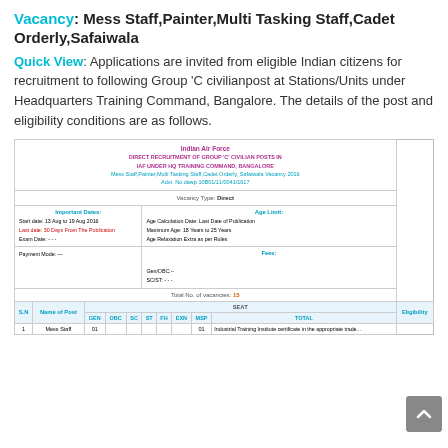Vacancy: Mess Staff,Painter,Multi Tasking Staff,Cadet Orderly,Safaiwala
Quick View: Applications are invited from eligible Indian citizens for recruitment to following Group ‘C civilianpost at Stations/Units under Headquarters Training Command, Bangalore. The details of the post and eligibility conditions are as follows.
| Indian Air Force | DIRECT RECRUITMENT OF GROUP ‘C’ CIVILIAN POSTS IN IAF UNDER HQ TRAINING COMMAND, BANGALORE | Mess Staff,Painter,Multi Tasking Staff,Cadet Orderly, Safaiwala Vacancy 2016 | Advt. No.dawp 10B01/11/0041/1617 | Vacancy Type: Direct | Important Dates | Age Limit | Start date: 13 Aug to 19 Aug 2016 | Last date: 30 Days From The Publication | Exam Date: - - - | Age Calculation Date: Last Date of Publication | Maximum Age: 18 Years to 25 Years | Age Relaxation Extra as per Rules | Payment Mode: — | Fees | Gen/OBC:-- | SC/ST: - - - | Total No. of vacancies: 15 | S.N | Name of Post | SEAT | GEN | OBC | SC | ST | FH | EXN | MSP | TOTAL | Eligibility | 1 | Mess Staff | 01 | 01 | Industrial Training Institute certificate in the appropriate trade |
| --- | --- | --- | --- | --- | --- | --- | --- | --- | --- | --- | --- | --- | --- | --- | --- | --- | --- | --- | --- | --- | --- | --- | --- | --- | --- | --- | --- | --- | --- | --- | --- | --- | --- | --- |